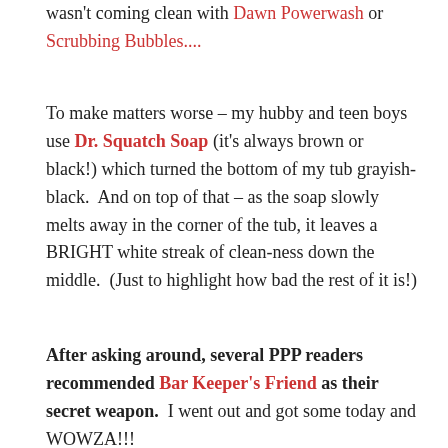wasn't coming clean with Dawn Powerwash or Scrubbing Bubbles....
To make matters worse – my hubby and teen boys use Dr. Squatch Soap (it's always brown or black!) which turned the bottom of my tub grayish-black.  And on top of that – as the soap slowly melts away in the corner of the tub, it leaves a BRIGHT white streak of clean-ness down the middle.  (Just to highlight how bad the rest of it is!)
After asking around, several PPP readers recommended Bar Keeper's Friend as their secret weapon.  I went out and got some today and WOWZA!!!